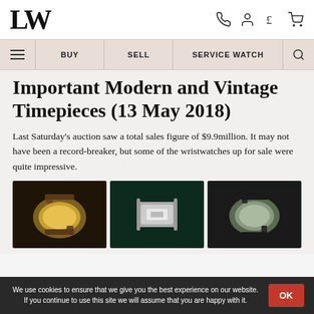LW — logo with phone, account, currency, cart icons
Navigation: ☰ BUY | SELL | SERVICE WATCH | 🔍
Important Modern and Vintage Timepieces (13 May 2018)
Last Saturday's auction saw a total sales figure of $9.9million. It may not have been a record-breaker, but some of the wristwatches up for sale were quite impressive.
[Figure (photo): Three watch images side by side: left shows a watch with brown strap and gold case, center shows a silver/chrome watch clasp detail on teal background, right shows a watch with black strap on dark background]
We use cookies to ensure that we give you the best experience on our website. If you continue to use this site we will assume that you are happy with it.